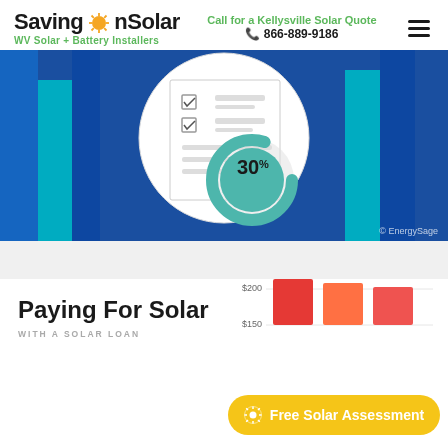SavingOnSolar — WV Solar + Battery Installers — Call for a Kellysville Solar Quote — 866-889-9186
[Figure (illustration): Hero banner image with blue background showing a checklist illustration with two checkmarks and gray lines, overlaid with a teal circular progress indicator showing '30%'. Bottom right shows '© EnergySage' watermark.]
Paying For Solar
WITH A SOLAR LOAN
[Figure (bar-chart): Partial bar chart visible with $200 and $150 labels on y-axis, with red/orange bars shown at the top.]
Free Solar Assessment